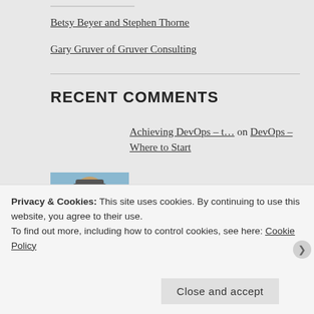Betsy Beyer and Stephen Thorne
Gary Gruver of Gruver Consulting
RECENT COMMENTS
Achieving DevOps – t… on DevOps – Where to Start
[Figure (photo): Profile photo of John Weers, a man wearing sunglasses outdoors]
John Weers on DevOps Stories –Jon Cwiak, Hum…
[Figure (illustration): Orange decorative avatar/icon with geometric diamond-star pattern]
Robin Tudball on OwinStartup red herring
Privacy & Cookies: This site uses cookies. By continuing to use this website, you agree to their use.
To find out more, including how to control cookies, see here: Cookie Policy
Close and accept